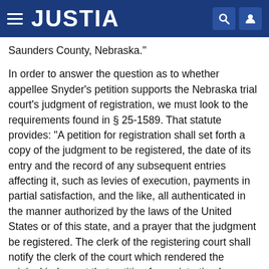JUSTIA
Saunders County, Nebraska."

In order to answer the question as to whether appellee Snyder's petition supports the Nebraska trial court's judgment of registration, we must look to the requirements found in § 25-1589. That statute provides: "A petition for registration shall set forth a copy of the judgment to be registered, the date of its entry and the record of any subsequent entries affecting it, such as levies of execution, payments in partial satisfaction, and the like, all authenticated in the manner authorized by the laws of the United States or of this state, and a prayer that the judgment be registered. The clerk of the registering court shall notify the clerk of the court which rendered the original judgment that petition for registration has been made, and shall request him to file this information with the judgment."